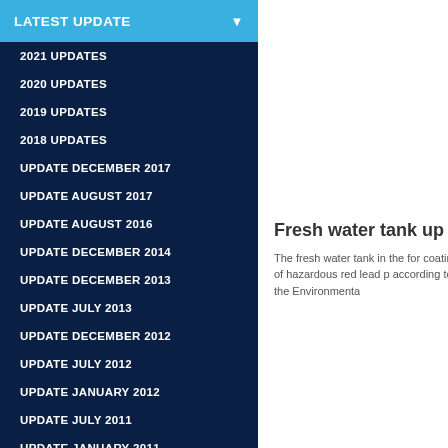LATEST UPDATE
2021 UPDATES
2020 UPDATES
2019 UPDATES
2018 UPDATES
UPDATE DECEMBER 2017
UPDATE AUGUST 2017
UPDATE AUGUST 2016
UPDATE DECEMBER 2014
UPDATE DECEMBER 2013
UPDATE JULY 2013
UPDATE DECEMBER 2012
UPDATE JULY 2012
UPDATE JANUARY 2012
UPDATE JULY 2011
UPDATE JANUARY 2011
UPDATE JULY 2010
UPDATE JANUARY 2010
UPDATE JULY 2009
UPDATE JANUARY 2009
UPDATE JULY 2008
UPDATE JANUARY 2008
UPDATE AUGUST 2007
UPDATE DECEMBER 2006
Fresh water tank up
The fresh water tank in the for coating of hazardous red lead p according to the Environmenta